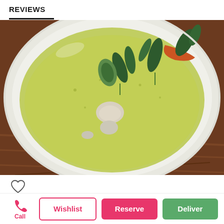REVIEWS
[Figure (photo): Close-up photo of a Thai green curry dish in a white bowl, showing green curry sauce, pieces of chicken, Thai basil leaves, sliced eggplant and peppers, on a wooden table.]
[Figure (illustration): Heart (wishlist/favorite) icon outline]
Thai food
The green curry with chicken (4 □: $14.90) was
Call
Wishlist
Reserve
Deliver